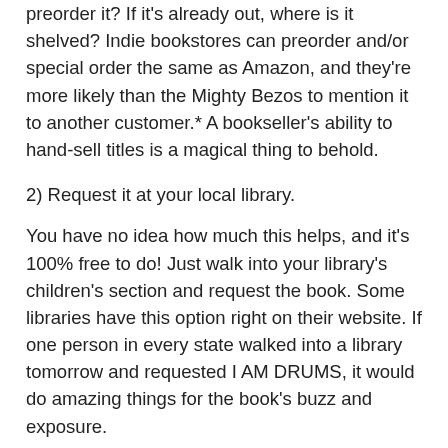preorder it? If it's already out, where is it shelved? Indie bookstores can preorder and/or special order the same as Amazon, and they're more likely than the Mighty Bezos to mention it to another customer.* A bookseller's ability to hand-sell titles is a magical thing to behold.
2) Request it at your local library.
You have no idea how much this helps, and it's 100% free to do! Just walk into your library's children's section and request the book. Some libraries have this option right on their website. If one person in every state walked into a library tomorrow and requested I AM DRUMS, it would do amazing things for the book's buzz and exposure.
Librarians are superheroes of children's literature. They are centaurs with glasses fighting a war of words with progressive lenses. They're human beings wielding twenty-six weapons of literary fury with a supporting array of punctuation. And they're super loving, cool people if you bring your books back on time without dogearing the pages.
3) Attend the author's book store/school events.